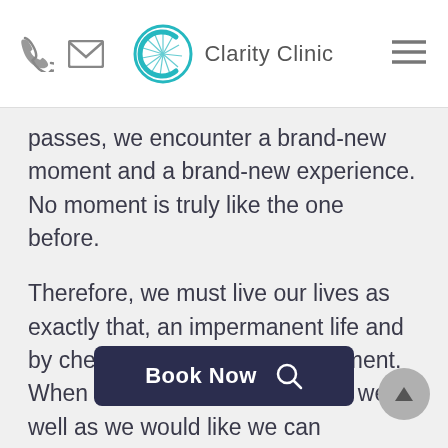Clarity Clinic
passes, we encounter a brand-new moment and a brand-new experience. No moment is truly like the one before.
Therefore, we must live our lives as exactly that, an impermanent life and by cherishing each passing moment. When our lives are not going as we well as we would like we can remember that it will pass overtime, as everything does.
Regardless, it may be beneficial to seek help and find a cou over th trials and tribulations you may be facing, as each
[Figure (other): Dark navy Book Now button with search icon overlay, and a grey circular scroll-to-top arrow button]